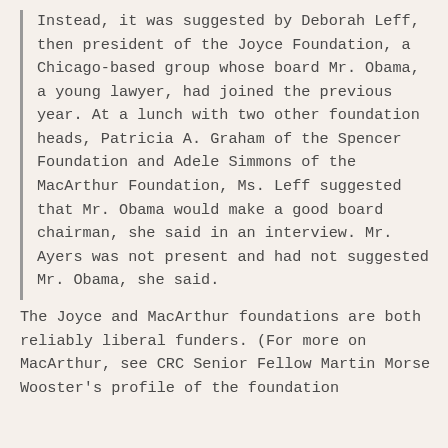Instead, it was suggested by Deborah Leff, then president of the Joyce Foundation, a Chicago-based group whose board Mr. Obama, a young lawyer, had joined the previous year. At a lunch with two other foundation heads, Patricia A. Graham of the Spencer Foundation and Adele Simmons of the MacArthur Foundation, Ms. Leff suggested that Mr. Obama would make a good board chairman, she said in an interview. Mr. Ayers was not present and had not suggested Mr. Obama, she said.
The Joyce and MacArthur foundations are both reliably liberal funders. (For more on MacArthur, see CRC Senior Fellow Martin Morse Wooster's profile of the foundation